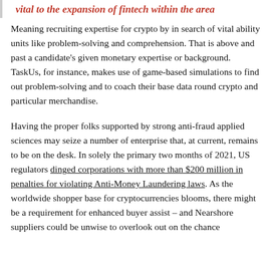vital to the expansion of fintech within the area
Meaning recruiting expertise for crypto by in search of vital ability units like problem-solving and comprehension. That is above and past a candidate's given monetary expertise or background. TaskUs, for instance, makes use of game-based simulations to find out problem-solving and to coach their base data round crypto and particular merchandise.
Having the proper folks supported by strong anti-fraud applied sciences may seize a number of enterprise that, at current, remains to be on the desk. In solely the primary two months of 2021, US regulators dinged corporations with more than $200 million in penalties for violating Anti-Money Laundering laws. As the worldwide shopper base for cryptocurrencies blooms, there might be a requirement for enhanced buyer assist – and Nearshore suppliers could be unwise to overlook out on the chance